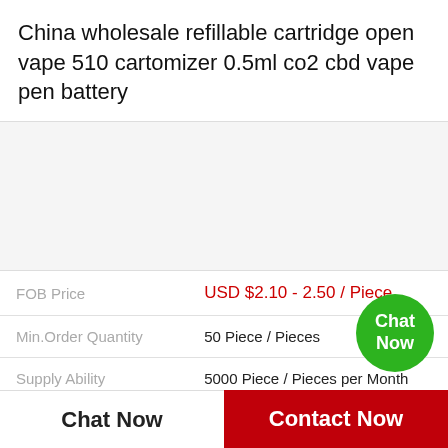China wholesale refillable cartridge open vape 510 cartomizer 0.5ml co2 cbd vape pen battery
[Figure (photo): Product image area, light gray background]
| FOB Price | USD $2.10 - 2.50 / Piece |
| Min.Order Quantity | 50 Piece / Pieces |
| Supply Ability | 5000 Piece / Pieces per Month |
| Port | ShenZhen |
Chat Now
Contact Now